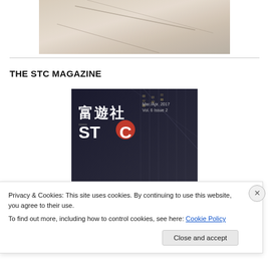[Figure (photo): Close-up photo of cream/beige leather upholstery with stitching seams visible]
THE STC MAGAZINE
[Figure (photo): STC Magazine cover showing Chinese characters 富遊社, STC logo, Mar./Apr. 2017 Vol. 6 Issue 2, with dark city building background]
Privacy & Cookies: This site uses cookies. By continuing to use this website, you agree to their use.
To find out more, including how to control cookies, see here: Cookie Policy
Close and accept